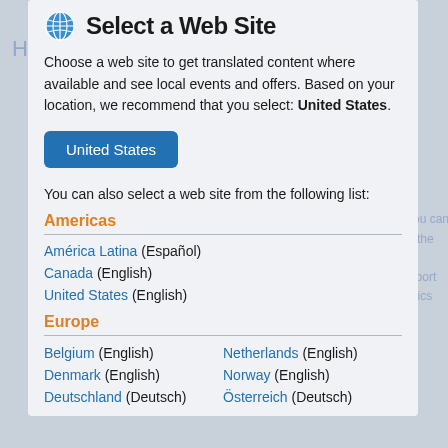Select a Web Site
Choose a web site to get translated content where available and see local events and offers. Based on your location, we recommend that you select: United States.
You can also select a web site from the following list:
Americas
América Latina (Español)
Canada (English)
United States (English)
Europe
Belgium (English)
Netherlands (English)
Denmark (English)
Norway (English)
Deutschland (Deutsch)
Österreich (Deutsch)